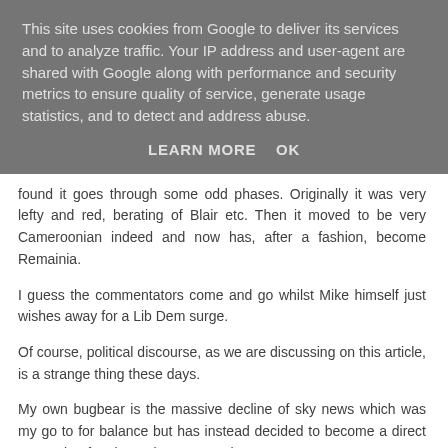This site uses cookies from Google to deliver its services and to analyze traffic. Your IP address and user-agent are shared with Google along with performance and security metrics to ensure quality of service, generate usage statistics, and to detect and address abuse.
LEARN MORE    OK
found it goes through some odd phases. Originally it was very lefty and red, berating of Blair etc. Then it moved to be very Cameroonian indeed and now has, after a fashion, become Remainia.
I guess the commentators come and go whilst Mike himself just wishes away for a Lib Dem surge.
Of course, political discourse, as we are discussing on this article, is a strange thing these days.
My own bugbear is the massive decline of sky news which was my go to for balance but has instead decided to become a direct competitor for channel 4 news - Why?